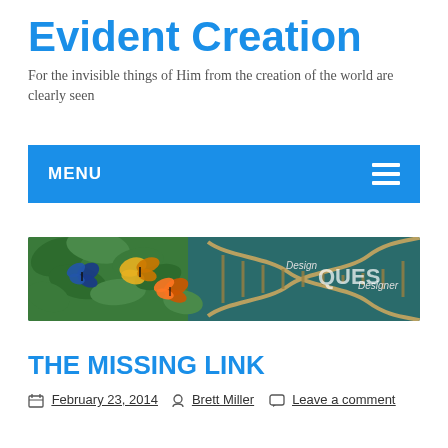Evident Creation
For the invisible things of Him from the creation of the world are clearly seen
MENU
[Figure (illustration): Website banner image showing butterflies on the left and a DNA double helix strand on the right against a dark teal background, with text 'Design' and 'Designer' visible]
THE MISSING LINK
February 23, 2014  Brett Miller  Leave a comment